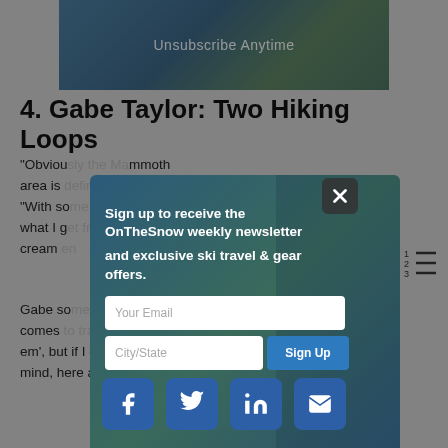[Figure (photo): Top banner image with 'Unsubscribe Anytime' text overlay on a ski/outdoor background]
4. Gabe Taylor: Two Hiking Loops
“Obviou…mmoth area is a…Taylor. “With so…ike what I g…he ice cream c…
Gabe so…ortholim…hen it comes…s. I’ll do em’, but if I can turn it into a loop, I will. With that in mind, here are my two favorite hikes in the area.”
[Figure (screenshot): Email newsletter sign-up modal overlay with fields for email and city/state, and a Sign Up button. Headline reads: Sign up to receive the OnTheSnow weekly newsletter and exclusive ski travel & gear offers.]
[Figure (infographic): Social share buttons row: Facebook, Twitter, LinkedIn, Email]